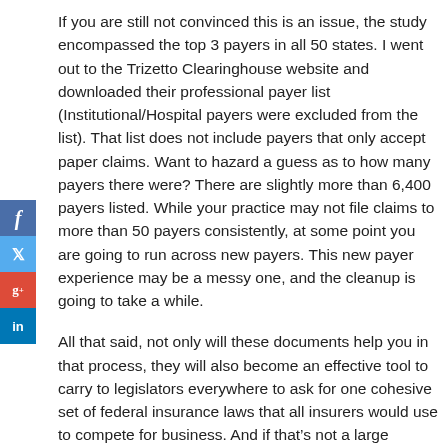If you are still not convinced this is an issue, the study encompassed the top 3 payers in all 50 states. I went out to the Trizetto Clearinghouse website and downloaded their professional payer list (Institutional/Hospital payers were excluded from the list). That list does not include payers that only accept paper claims. Want to hazard a guess as to how many payers there were? There are slightly more than 6,400 payers listed. While your practice may not file claims to more than 50 payers consistently, at some point you are going to run across new payers. This new payer experience may be a messy one, and the cleanup is going to take a while.
All that said, not only will these documents help you in that process, they will also become an effective tool to carry to legislators everywhere to ask for one cohesive set of federal insurance laws that all insurers would use to compete for business. And if that’s not a large enough task, maybe state insurance commissioners could be confronted by not only state association members lobbying for insurance reform, but other health care practitioners as well. I believe that we all owe the individuals involved in this study a collective “thank you.” We will work to share this document with other